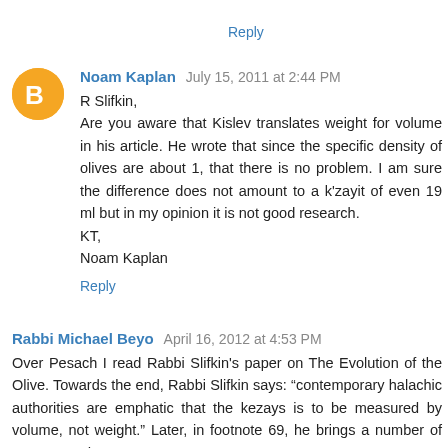Reply
Noam Kaplan  July 15, 2011 at 2:44 PM
R Slifkin,
Are you aware that Kislev translates weight for volume in his article. He wrote that since the specific density of olives are about 1, that there is no problem. I am sure the difference does not amount to a k'zayit of even 19 ml but in my opinion it is not good research.
KT,
Noam Kaplan
Reply
Rabbi Michael Beyo  April 16, 2012 at 4:53 PM
Over Pesach I read Rabbi Slifkin's paper on The Evolution of the Olive. Towards the end, Rabbi Slifkin says: "contemporary halachic authorities are emphatic that the kezays is to be measured by volume, not weight." Later, in footnote 69, he brings a number of sources and among